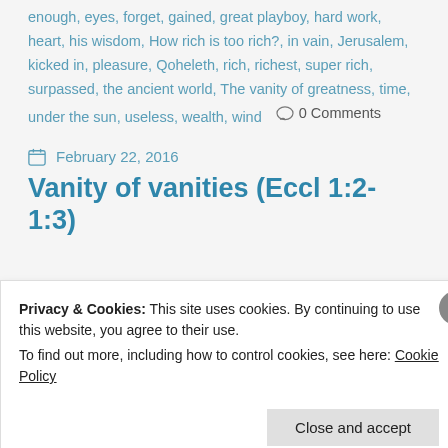enough, eyes, forget, gained, great playboy, hard work, heart, his wisdom, How rich is too rich?, in vain, Jerusalem, kicked in, pleasure, Qoheleth, rich, richest, super rich, surpassed, the ancient world, The vanity of greatness, time, under the sun, useless, wealth, wind   0 Comments
February 22, 2016
Vanity of vanities (Eccl 1:2-1:3)
Privacy & Cookies: This site uses cookies. By continuing to use this website, you agree to their use. To find out more, including how to control cookies, see here: Cookie Policy